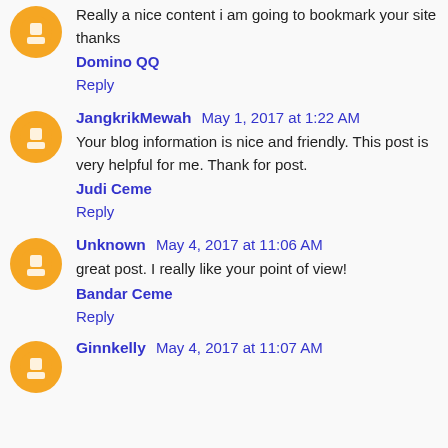Really a nice content i am going to bookmark your site thanks
Domino QQ
Reply
JangkrikMewah May 1, 2017 at 1:22 AM
Your blog information is nice and friendly. This post is very helpful for me. Thank for post.
Judi Ceme
Reply
Unknown May 4, 2017 at 11:06 AM
great post. I really like your point of view!
Bandar Ceme
Reply
Ginnkelly May 4, 2017 at 11:07 AM